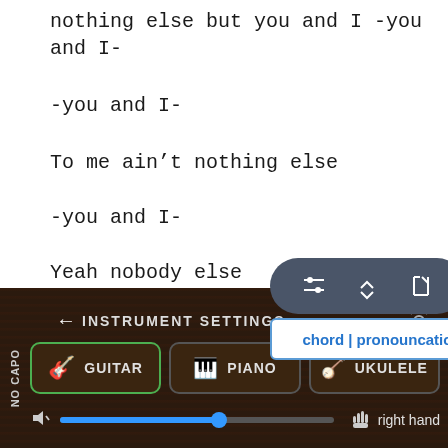nothing else but you and I -you and I-
-you and I-
To me ain’t nothing else
-you and I-
Yeah nobody else
-you and I-
You and I,
[Figure (screenshot): Dark pill-shaped toolbar with three icons: sliders/settings, up-down arrow, and corner bracket symbol]
chord | pronouncation
INSTRUMENT SETTINGS
[Figure (screenshot): Three instrument selection buttons: GUITAR (selected with green border), PIANO, UKULELE. Below: volume slider with blue fill, right hand label.]